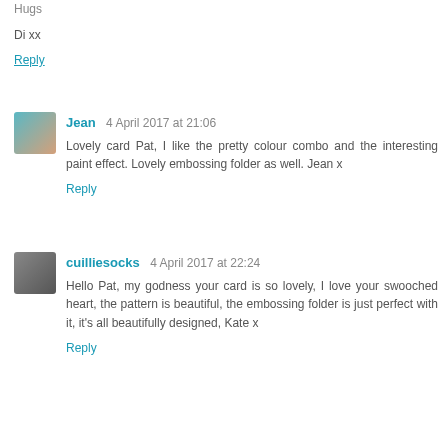Hugs

Di xx
Reply
Jean 4 April 2017 at 21:06
Lovely card Pat, I like the pretty colour combo and the interesting paint effect. Lovely embossing folder as well. Jean x
Reply
cuilliesocks 4 April 2017 at 22:24
Hello Pat, my godness your card is so lovely, I love your swooched heart, the pattern is beautiful, the embossing folder is just perfect with it, it's all beautifully designed, Kate x
Reply